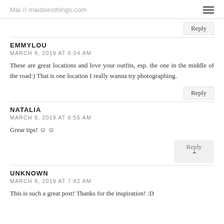Mai // maidoesthings.com
Reply
EMMYLOU
MARCH 9, 2019 AT 6:04 AM
These are great locations and love your outfits, esp. the one in the middle of the road:) That is one location I really wanna try photographing.
Reply
NATALIA
MARCH 9, 2019 AT 6:55 AM
Grear tips! ☺ ☺
Reply
UNKNOWN
MARCH 9, 2019 AT 7:42 AM
This is such a great post! Thanks for the inspiration! :D